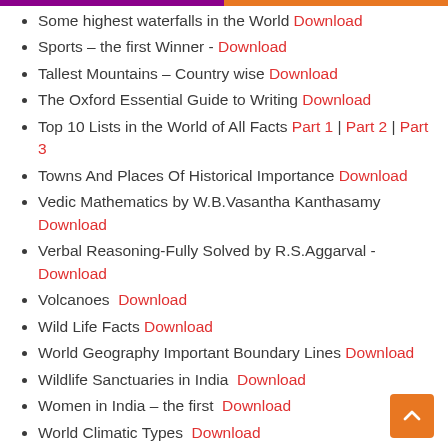Some highest waterfalls in the World Download
Sports – the first Winner - Download
Tallest Mountains – Country wise Download
The Oxford Essential Guide to Writing Download
Top 10 Lists in the World of All Facts Part 1 | Part 2 | Part 3
Towns And Places Of Historical Importance Download
Vedic Mathematics by W.B.Vasantha Kanthasamy Download
Verbal Reasoning-Fully Solved by R.S.Aggarval - Download
Volcanoes  Download
Wild Life Facts Download
World Geography Important Boundary Lines Download
Wildlife Sanctuaries in India  Download
Women in India – the first  Download
World Climatic Types  Download